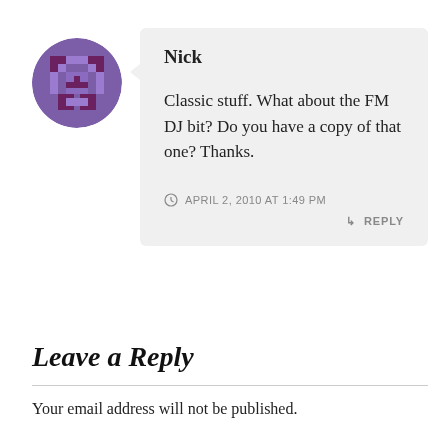[Figure (illustration): Circular avatar with pixel art design in purple and dark red tones]
Nick
Classic stuff. What about the FM DJ bit? Do you have a copy of that one? Thanks.
APRIL 2, 2010 AT 1:49 PM
REPLY
Leave a Reply
Your email address will not be published.